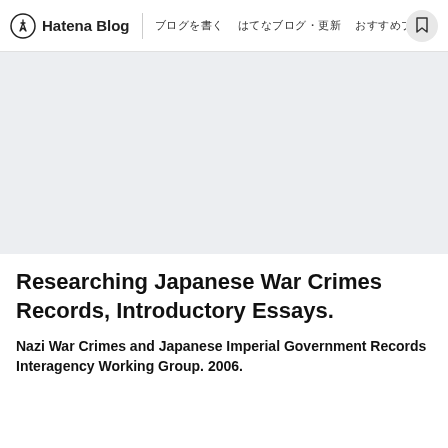Hatena Blog | ブログを書く | はてなブログ・更新 | おすすめブログ はてなブログProではじめよう...
[Figure (photo): Gray placeholder image area (advertisement or banner image)]
Researching Japanese War Crimes Records, Introductory Essays.
Nazi War Crimes and Japanese Imperial Government Records Interagency Working Group. 2006.